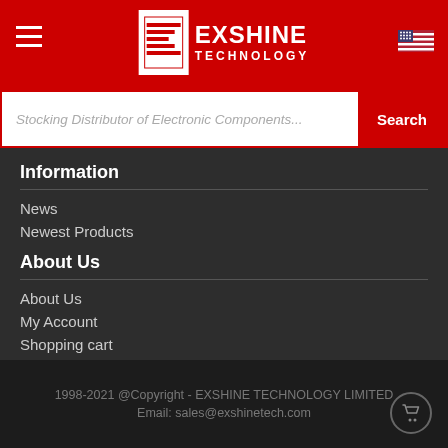EXSHINE TECHNOLOGY
Stocking Distributor of Electronic Components...
Information
News
Newest Products
About Us
About Us
My Account
Shopping cart
Site map
1998-2021 @Copyright - EXSHINE TECHNOLOGY LIMITED
Email: sales@exshinetech.com